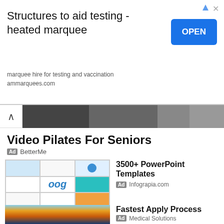[Figure (screenshot): Advertisement banner: Structures to aid testing - heated marquee, with OPEN button]
Structures to aid testing - heated marquee
marquee hire for testing and vaccination
ammarquees.com
[Figure (screenshot): Navigation thumbnail strip with chevron arrow]
Video Pilates For Seniors
Ad  BetterMe
[Figure (screenshot): PowerPoint templates collage showing colorful presentation slides]
3500+ PowerPoint Templates
Ad  Infograpia.com
[Figure (screenshot): Dark terminal showing fuzz testing output for log4jFuzzer]
Fuzz Testing For Java
Ad  www.code-intelligence.com
[Figure (photo): Sunset/sunrise over water with dramatic orange and blue sky]
Fastest Apply Process
Ad  Medical Solutions